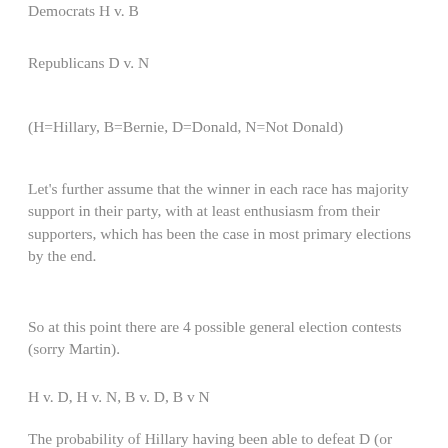Democrats H v. B
Republicans D v. N
(H=Hillary, B=Bernie, D=Donald, N=Not Donald)
Let's further assume that the winner in each race has majority support in their party, with at least enthusiasm from their supporters, which has been the case in most primary elections by the end.
So at this point there are 4 possible general election contests (sorry Martin).
H v. D, H v. N, B v. D, B v N
The probability of Hillary having been able to defeat D (or